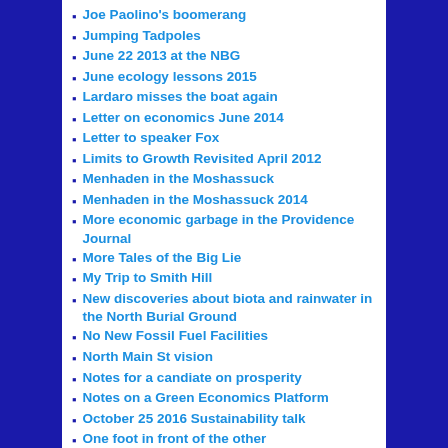Joe Paolino's boomerang
Jumping Tadpoles
June 22 2013 at the NBG
June ecology lessons 2015
Lardaro misses the boat again
Letter on economics June 2014
Letter to speaker Fox
Limits to Growth Revisited April 2012
Menhaden in the Moshassuck
Menhaden in the Moshassuck 2014
More economic garbage in the Providence Journal
More Tales of the Big Lie
My Trip to Smith Hill
New discoveries about biota and rainwater in the North Burial Ground
No New Fossil Fuel Facilities
North Main St vision
Notes for a candiate on prosperity
Notes on a Green Economics Platform
October 25 2016 Sustainability talk
One foot in front of the other